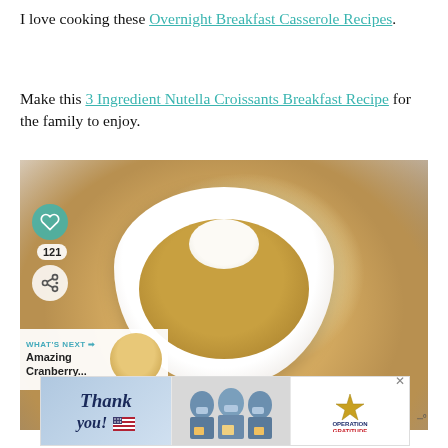I love cooking these Overnight Breakfast Casserole Recipes.
Make this 3 Ingredient Nutella Croissants Breakfast Recipe for the family to enjoy.
[Figure (photo): A white ceramic bowl filled with oatmeal topped with a cream dollop, walnuts, and dried cranberries, with additional cranberries around the bowl. UI overlays show a heart/like icon, a count of 121, a share icon, and a 'What's Next – Amazing Cranberry...' panel with thumbnail.]
[Figure (photo): Advertisement banner: 'Thank you!' text with American flag imagery on the left, healthcare workers holding boxes in the middle, and Operation Gratitude logo on the right.]